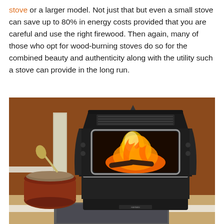stove or a larger model. Not just that but even a small stove can save up to 80% in energy costs provided that you are careful and use the right firewood. Then again, many of those who opt for wood-burning stoves do so for the combined beauty and authenticity along with the utility such a stove can provide in the long run.
[Figure (photo): A black pellet stove with a glass front showing an active fire burning inside, placed in a room with brown/terracotta walls and white baseboard trim. A dark red ceramic pot filled with wood pellets and a metal scoop sits to the left of the stove on a slate tile hearth.]